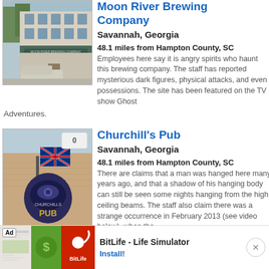[Figure (photo): Exterior photo of Moon River Brewing Company building in Savannah, Georgia. Multi-story white/cream building with signage, awnings, and a van parked in front.]
Moon River Brewing Company
Savannah, Georgia
48.1 miles from Hampton County, SC
Employees here say it is angry spirits who haunt this brewing company. The staff has reported mysterious dark figures, physical attacks, and even possessions. The site has been featured on the TV show Ghost Adventures.
[Figure (photo): Photo of Churchill's Pub sign with UK flag. Dark sign with 'CHURCHILLS PUB' text on brick building exterior. Badge showing '0'.]
Churchill's Pub
Savannah, Georgia
48.1 miles from Hampton County, SC
There are claims that a man was hanged here many years ago, and that a shadow of his hanging body can still be seen some nights hanging from the high ceiling beams. The staff also claim there was a strange occurrence in February 2013 (see video below), when the ...
[Figure (screenshot): Advertisement for BitLife - Life Simulator app with Ad label, green and red app icon panels, and Install! button.]